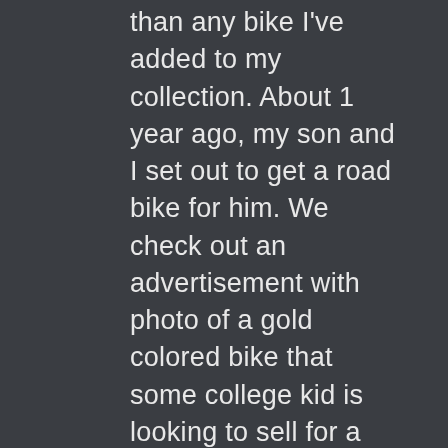than any bike I've added to my collection. About 1 year ago, my son and I set out to get a road bike for him. We check out an advertisement with photo of a gold colored bike that some college kid is looking to sell for a song and dance. What does he have? A 12 spd Grand Velo with full Campy set up and a serial number of 005. This young man had no idea what he was letting go of for so cheap I reached out to Grant Peterson via email to his current bike business in California to enquire about these bikes. He gave me a brief history and told me that these were hand made bikes made by the Keirin Japanese racers in the 70's, some of whom were Bridgestone employees themselves, and